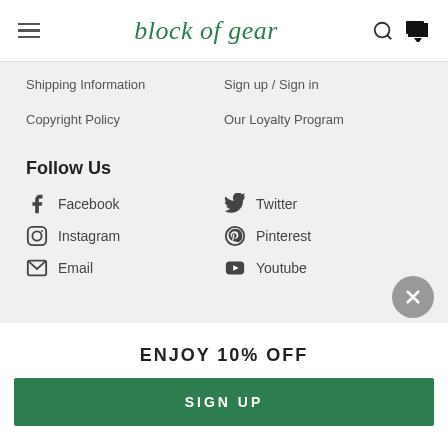block of gear
Shipping Information
Sign up / Sign in
Copyright Policy
Our Loyalty Program
Follow Us
Facebook
Twitter
Instagram
Pinterest
Email
Youtube
ENJOY 10% OFF
SIGN UP